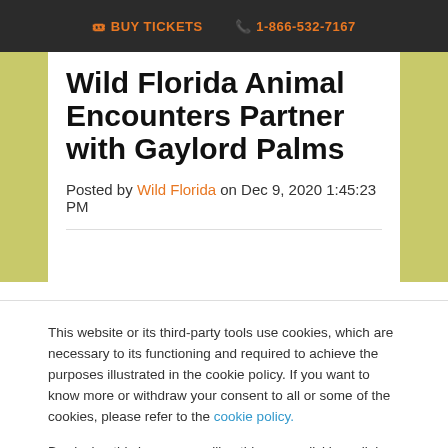🎟 BUY TICKETS   📞 1-866-532-7167
Wild Florida Animal Encounters Partner with Gaylord Palms
Posted by Wild Florida on Dec 9, 2020 1:45:23 PM
This website or its third-party tools use cookies, which are necessary to its functioning and required to achieve the purposes illustrated in the cookie policy. If you want to know more or withdraw your consent to all or some of the cookies, please refer to the cookie policy.

By closing this banner, scrolling this page, clicking a link or continuing to browse otherwise, you agree to the use of cookies.